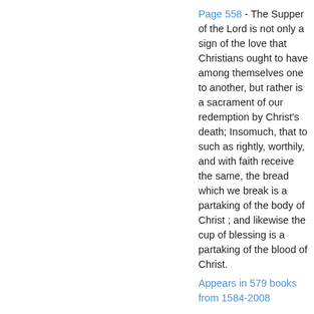Page 558 - The Supper of the Lord is not only a sign of the love that Christians ought to have among themselves one to another, but rather is a sacrament of our redemption by Christ's death; Insomuch, that to such as rightly, worthily, and with faith receive the same, the bread which we break is a partaking of the body of Christ ; and likewise the cup of blessing is a partaking of the blood of Christ.
Appears in 579 books from 1584-2008
Page 612 - The other, deep and slow, exhausting thought. And